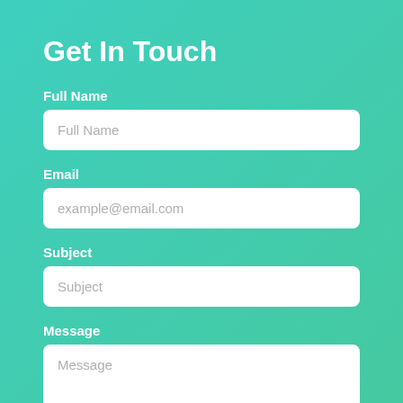Get In Touch
Full Name
Full Name (placeholder)
Email
example@email.com (placeholder)
Subject
Subject (placeholder)
Message
Message (placeholder)